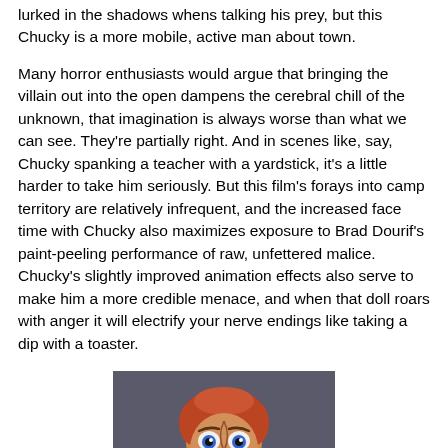lurked in the shadows whens talking his prey, but this Chucky is a more mobile, active man about town.
Many horror enthusiasts would argue that bringing the villain out into the open dampens the cerebral chill of the unknown, that imagination is always worse than what we can see. They're partially right. And in scenes like, say, Chucky spanking a teacher with a yardstick, it's a little harder to take him seriously. But this film's forays into camp territory are relatively infrequent, and the increased face time with Chucky also maximizes exposure to Brad Dourif's paint-peeling performance of raw, unfettered malice. Chucky's slightly improved animation effects also serve to make him a more credible menace, and when that doll roars with anger it will electrify your nerve endings like taking a dip with a toaster.
[Figure (photo): A close-up photo of the Chucky doll character with an open mouth expression, wide blue eyes, and red/orange hair, appearing to scream or roar.]